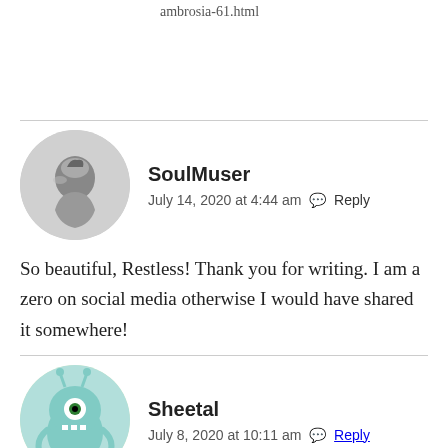ambrosia-61.html
SoulMuser
July 14, 2020 at 4:44 am  Reply
So beautiful, Restless! Thank you for writing. I am a zero on social media otherwise I would have shared it somewhere!
Sheetal
July 8, 2020 at 10:11 am  Reply